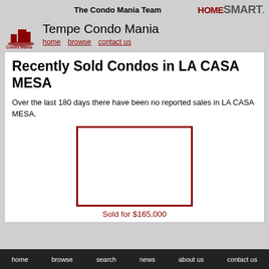The Condo Mania Team  HOMESMART
Tempe Condo Mania
home   browse   contact us
Recently Sold Condos in LA CASA MESA
Over the last 180 days there have been no reported sales in LA CASA MESA.
[Figure (other): Empty listing image box with dark red border, placeholder for property photo]
Sold for $165,000
home   browse   search   news   about us   contact us